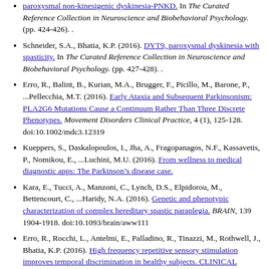paroxysmal non-kinesigenic dyskinesia-PNKD. In The Curated Reference Collection in Neuroscience and Biobehavioral Psychology. (pp. 424-426). .
Schneider, S.A., Bhatia, K.P. (2016). DYT9, paroxysmal dyskinesia with spasticity. In The Curated Reference Collection in Neuroscience and Biobehavioral Psychology. (pp. 427-428). .
Erro, R., Balint, B., Kurian, M.A., Brugger, F., Picillo, M., Barone, P., ...Pellecchia, M.T. (2016). Early Ataxia and Subsequent Parkinsonism: PLA2G6 Mutations Cause a Continuum Rather Than Three Discrete Phenotypes. Movement Disorders Clinical Practice, 4 (1), 125-128. doi:10.1002/mdc3.12319
Kueppers, S., Daskalopoulos, I., Jha, A., Fragopanagos, N.F., Kassavetis, P., Nomikou, E., ...Luchini, M.U. (2016). From wellness to medical diagnostic apps: The Parkinson’s disease case.
Kara, E., Tucci, A., Manzoni, C., Lynch, D.S., Elpidorou, M., Bettencourt, C., ...Haridy, N.A. (2016). Genetic and phenotypic characterization of complex hereditary spastic paraplegia. BRAIN, 139 1904-1918. doi:10.1093/brain/aww111
Erro, R., Rocchi, L., Antelmi, E., Palladino, R., Tinazzi, M., Rothwell, J., Bhatia, K.P. (2016). High frequency repetitive sensory stimulation improves temporal discrimination in healthy subjects. CLINICAL NEUROPHYSIOLOGY, 127...